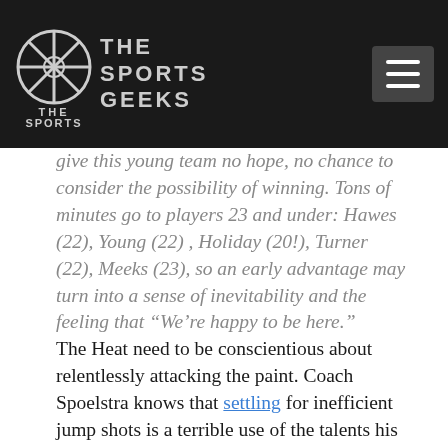The Sports Geeks
give this young team no hope, no chance to consider the possibility of winning. Tons of minutes go to players 23 and under: Hawes (22), Young (22) , Holiday (20!), Turner (22), Meeks (23), so an early advantage may turn into a sense of inevitability and the feeling that “We’re happy to be here.”
The Heat need to be conscientious about relentlessly attacking the paint. Coach Spoelstra knows that settling for inefficient jump shots is a terrible use of the talents his team has taken to South Beach, and that will be even more true against the Sixers’ excellent perimeter defense. Defensive Player of the Year candidate Andre Iguodala is nursing an knee tendinitis and the Heat will want to make him work on defense to limit his energy in his role as